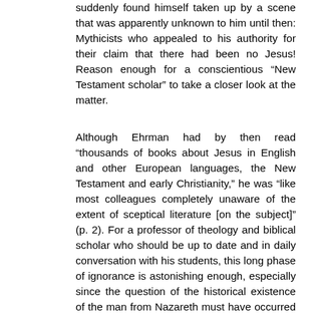suddenly found himself taken up by a scene that was apparently unknown to him until then: Mythicists who appealed to his authority for their claim that there had been no Jesus! Reason enough for a conscientious “New Testament scholar” to take a closer look at the matter.
Although Ehrman had by then read “thousands of books about Jesus in English and other European languages, the New Testament and early Christianity,” he was “like most colleagues completely unaware of the extent of sceptical literature [on the subject]” (p. 2). For a professor of theology and biblical scholar who should be up to date and in daily conversation with his students, this long phase of ignorance is astonishing enough, especially since the question of the historical existence of the man from Nazareth must have occurred again and again in the mass of Jesus literature he read. For example, in The Quest of the Historical Jesus by